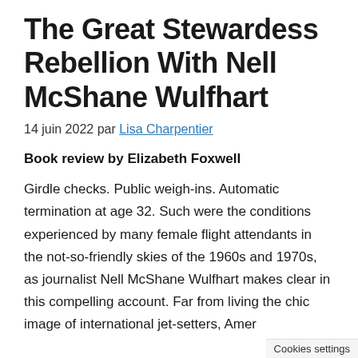The Great Stewardess Rebellion With Nell McShane Wulfhart
14 juin 2022 par Lisa Charpentier
Book review by Elizabeth Foxwell
Girdle checks. Public weigh-ins. Automatic termination at age 32. Such were the conditions experienced by many female flight attendants in the not-so-friendly skies of the 1960s and 1970s, as journalist Nell McShane Wulfhart makes clear in this compelling account. Far from living the chic image of international jet-setters, Amer
Cookies settings